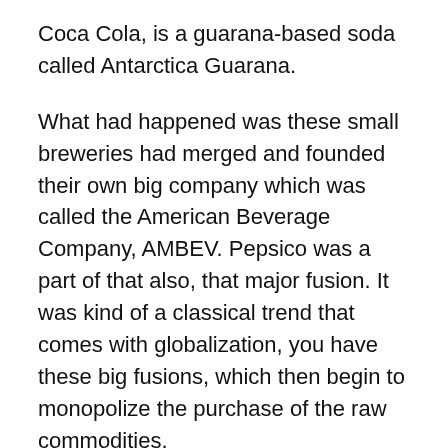Coca Cola, is a guarana-based soda called Antarctica Guarana.
What had happened was these small breweries had merged and founded their own big company which was called the American Beverage Company, AMBEV. Pepsico was a part of that also, that major fusion. It was kind of a classical trend that comes with globalization, you have these big fusions, which then begin to monopolize the purchase of the raw commodities.
Because they are basically one big group, they can dictate the price they purchase the berries at...
And there's nothing illegal in that, they're not committing any kind of crime or anything. But what happened was prices fell 80% in just a couple of years! That affected this area a lot, because selling their guarana is their area's